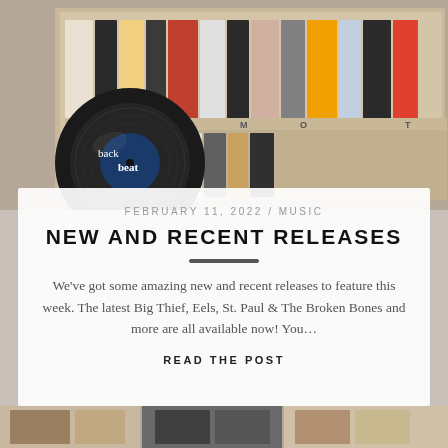[Figure (photo): Photograph of a record store with rows of vinyl records in bins, colorful album covers visible. A large vinyl record with 'backbeat' logo and blue circle is overlaid in the lower-left of the image.]
FEBRUARY 11, 2022 / MUSIC
NEW AND RECENT RELEASES
We've got some amazing new and recent releases to feature this week. The latest Big Thief, Eels, St. Paul & The Broken Bones and more are all available now! You…
READ THE POST
[Figure (photo): Partial view of album covers at the bottom of the page, cropped.]